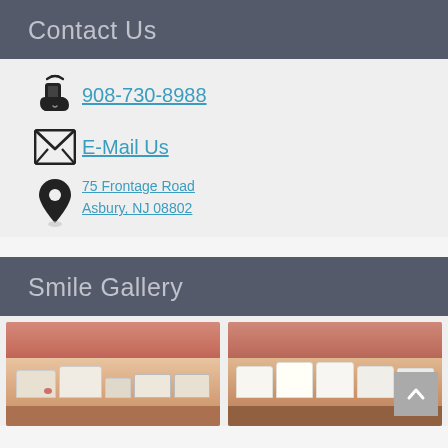Contact Us
908-730-8988
E-Mail Us
75 Frontage Road
Asbury, NJ 08802
Smile Gallery
[Figure (photo): Two side-by-side dental photos showing teeth, one showing a missing/damaged tooth (before) and one showing healthy aligned white teeth (after).]